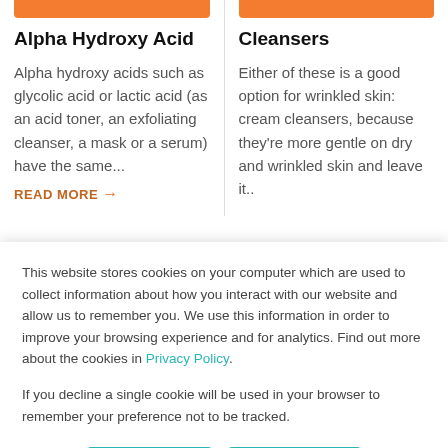[Figure (illustration): Orange image bar at top of Alpha Hydroxy Acid card]
[Figure (illustration): Orange image bar at top of Cleansers card]
Alpha Hydroxy Acid
Alpha hydroxy acids such as glycolic acid or lactic acid (as an acid toner, an exfoliating cleanser, a mask or a serum) have the same...
READ MORE →
Cleansers
Either of these is a good option for wrinkled skin: cream cleansers, because they're more gentle on dry and wrinkled skin and leave it..
This website stores cookies on your computer which are used to collect information about how you interact with our website and allow us to remember you. We use this information in order to improve your browsing experience and for analytics. Find out more about the cookies in Privacy Policy.
If you decline a single cookie will be used in your browser to remember your preference not to be tracked.